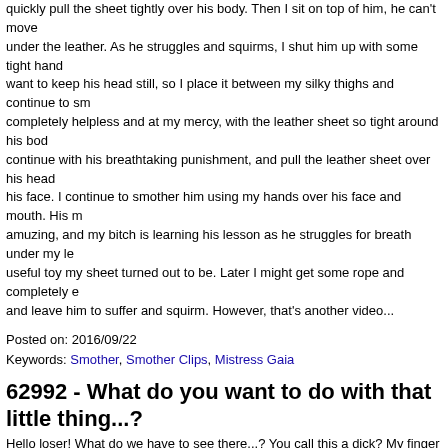quickly pull the sheet tightly over his body. Then I sit on top of him, he can't move under the leather. As he struggles and squirms, I shut him up with some tight hand want to keep his head still, so I place it between my silky thighs and continue to sm completely helpless and at my mercy, with the leather sheet so tight around his bod continue with his breathtaking punishment, and pull the leather sheet over his head his face. I continue to smother him using my hands over his face and mouth. His m amuzing, and my bitch is learning his lesson as he struggles for breath under my le useful toy my sheet turned out to be. Later I might get some rope and completely e and leave him to suffer and squirm. However, that's another video...
Posted on: 2016/09/22
Keywords: Smother, Smother Clips, Mistress Gaia
62992 - What do you want to do with that little thing...?
Hello loser! What do we have to see there...? You call this a dick? My finger is bigg you think you can do with it...? Nothing? That's right! Maybe you can use two finger harder. Haha! You look so funny! I bet every girls ran away after seeing this thing. Y you? And this will be forever! You can believe me! But at least you can amuse us a
Posted on: 2016/09/22
Keywords: Humiliation, Humiliation Clips, We dominate you
113158 - Slava - Feeds the slave
Slava just came home from walk. She buys an ice cream and wants to eat it home. are hungry too so she drops a pice of an ice cream to the dirty floor and then press Then Slava tells Alex to lick an ice cream from her dirty boot's soles. Alex licks and all dirt from Slava's boots. Then she tells the slave to lick remains of an ice cream f finally Slava gives a slave her plate with melted ice cream and tells him to lick it too slave!
Posted on: 2016/09/22